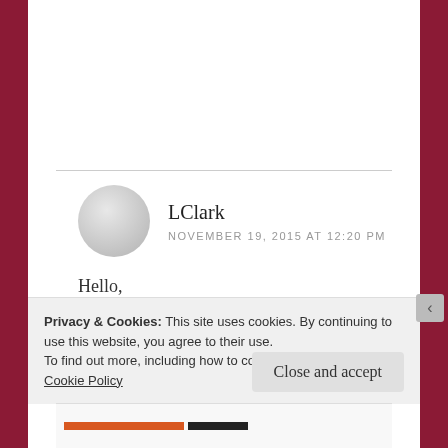LClark
NOVEMBER 19, 2015 AT 12:20 PM
Hello,
I finished my BA in English at AMU a couple years ago. I really enjoyed their program. I was introduced to so many great writers that I
Privacy & Cookies: This site uses cookies. By continuing to use this website, you agree to their use.
To find out more, including how to control cookies, see here: Cookie Policy
Close and accept